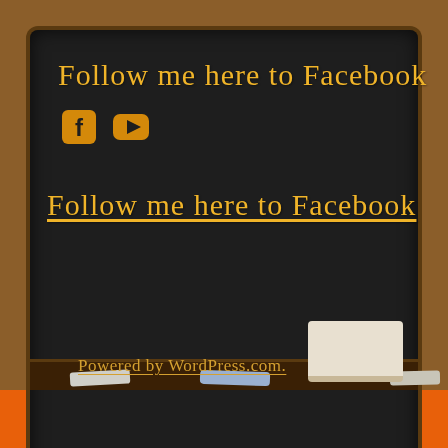Follow me here to Facebook
[Figure (illustration): Facebook and YouTube social media icons in orange/yellow color on chalkboard]
Follow me here to Facebook
Powered by WordPress.com.